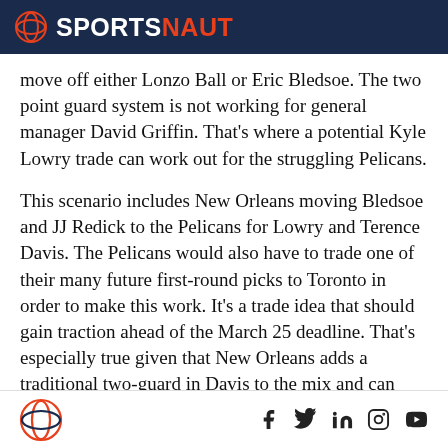SPORTSNAUT
move off either Lonzo Ball or Eric Bledsoe. The two point guard system is not working for general manager David Griffin. That’s where a potential Kyle Lowry trade can work out for the struggling Pelicans.
This scenario includes New Orleans moving Bledsoe and JJ Redick to the Pelicans for Lowry and Terence Davis. The Pelicans would also have to trade one of their many future first-round picks to Toronto in order to make this work. It’s a trade idea that should gain traction ahead of the March 25 deadline. That’s especially true given that New Orleans adds a traditional two-guard in Davis to the mix and can
Sportsnaut logo and social media icons (Facebook, Twitter, LinkedIn, Instagram, YouTube)